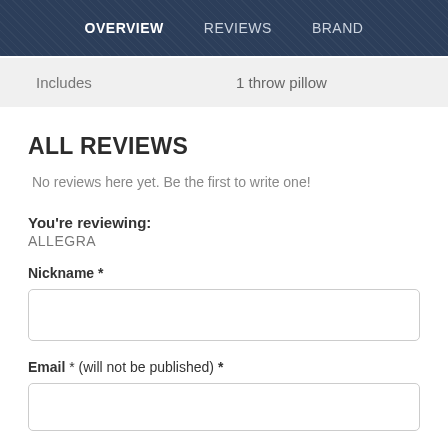OVERVIEW   REVIEWS   BRAND
| Includes | 1 throw pillow |
| --- | --- |
ALL REVIEWS
No reviews here yet. Be the first to write one!
You're reviewing:
ALLEGRA
Nickname *
Email * (will not be published) *